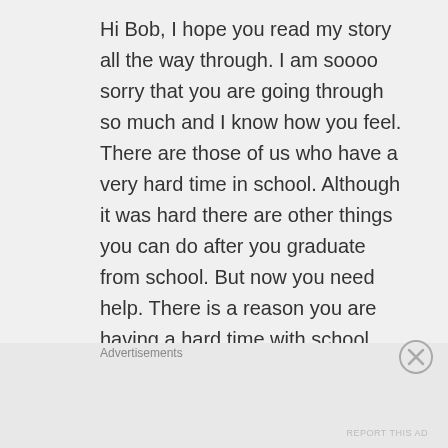Hi Bob, I hope you read my story all the way through. I am soooo sorry that you are going through so much and I know how you feel. There are those of us who have a very hard time in school. Although it was hard there are other things you can do after you graduate from school. But now you need help. There is a reason you are having a hard time with school work and I'm going to pray that you and your family will solve this problem.

Please don't give up! Please keep trying.
I'm going to pray for you
Advertisements
REPORT THIS AD